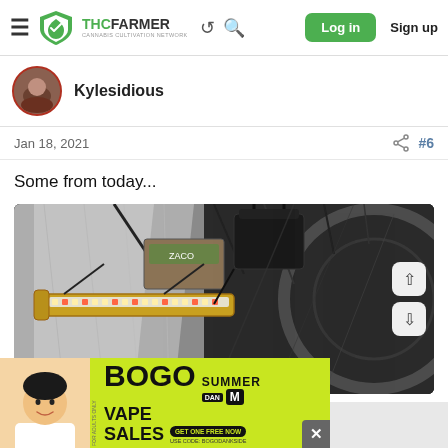THCFarmer - Cannabis Cultivation Network | Log in | Sign up
Kylesidious
Jan 18, 2021  #6
Some from today...
[Figure (photo): Indoor grow tent setup with LED grow light bar (gold/white strip light), black ballast/driver hanging from support bars, reflective mylar interior walls, various cables and straps visible overhead. Navigation arrows (up/down) on right side.]
[Figure (photo): Advertisement banner: BOGO Summer Vape Sales promotion with smiling Asian man, bright yellow-green background, black text, DAN M badge, GET ONE FREE NOW call-to-action button, USE CODE: BOGODANKSIDE]